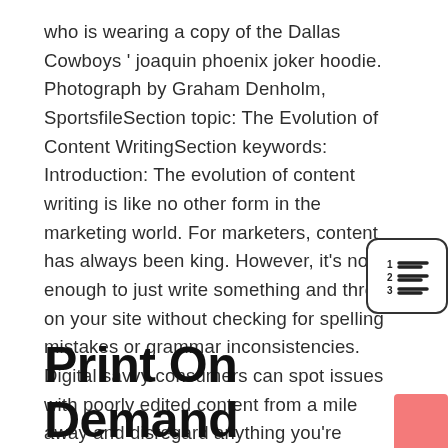who is wearing a copy of the Dallas Cowboys ' joaquin phoenix joker hoodie. Photograph by Graham Denholm, SportsfileSection topic: The Evolution of Content WritingSection keywords: Introduction: The evolution of content writing is like no other form in the marketing world. For marketers, content has always been king. However, it's not enough to just write something and throw it on your site without checking for spelling mistakes or grammar inconsistencies. Digital savvy consumers can spot issues with poorly edited content from a mile away and disregard anything you're creating when you're using uncontested, unchecked information as support for your claims. The products mentioned in this infographic are helping marketers create quality content at scale so that they can
[Figure (other): Numbered list icon — a small icon showing lines next to numbers 1, 2, 3, enclosed in a rounded rectangle border]
Print On Demand